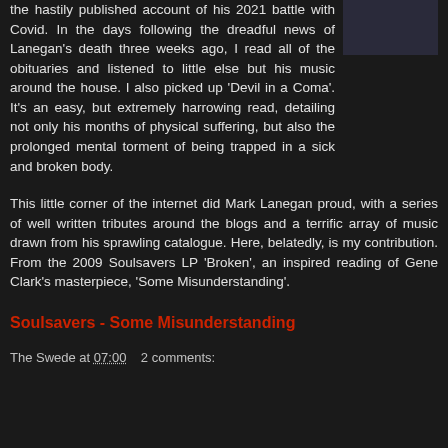the hastily published account of his 2021 battle with Covid. In the days following the dreadful news of Lanegan's death three weeks ago, I read all of the obituaries and listened to little else but his music around the house. I also picked up 'Devil in a Coma'. It's an easy, but extremely harrowing read, detailing not only his months of physical suffering, but also the prolonged mental torment of being trapped in a sick and broken body.
[Figure (photo): Dark book cover image]
This little corner of the internet did Mark Lanegan proud, with a series of well written tributes around the blogs and a terrific array of music drawn from his sprawling catalogue. Here, belatedly, is my contribution. From the 2009 Soulsavers LP 'Broken', an inspired reading of Gene Clark's masterpiece, 'Some Misunderstanding'.
Soulsavers - Some Misunderstanding
The Swede at 07:00    2 comments: